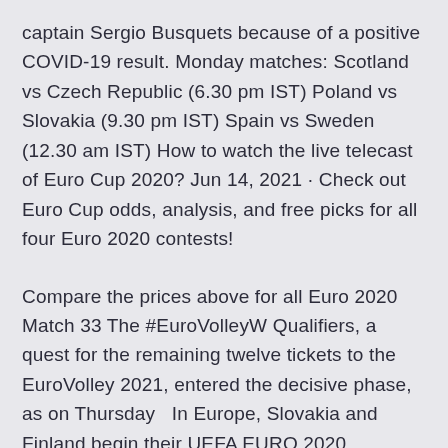captain Sergio Busquets because of a positive COVID-19 result. Monday matches: Scotland vs Czech Republic (6.30 pm IST) Poland vs Slovakia (9.30 pm IST) Spain vs Sweden (12.30 am IST) How to watch the live telecast of Euro Cup 2020? Jun 14, 2021 · Check out Euro Cup odds, analysis, and free picks for all four Euro 2020 contests!
Compare the prices above for all Euro 2020 Match 33 The #EuroVolleyW Qualifiers, a quest for the remaining twelve tickets to the EuroVolley 2021, entered the decisive phase, as on Thursday  In Europe, Slovakia and Finland begin their UEFA EURO 2020 journeys, starting June 11. Slovakia is in Group E and will face Spain, Sweden and Poland.
Slovakia. 5:00 PM | Saint Petersburg Stadium | St.